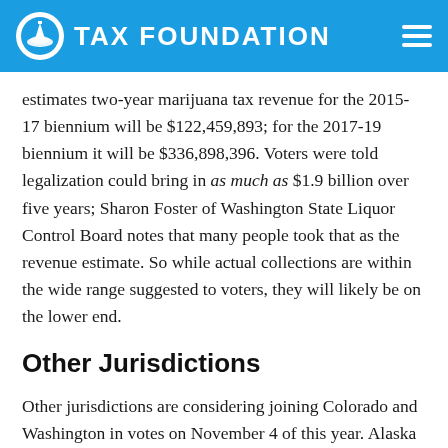TAX FOUNDATION
estimates two-year marijuana tax revenue for the 2015-17 biennium will be $122,459,893; for the 2017-19 biennium it will be $336,898,396. Voters were told legalization could bring in as much as $1.9 billion over five years; Sharon Foster of Washington State Liquor Control Board notes that many people took that as the revenue estimate. So while actual collections are within the wide range suggested to voters, they will likely be on the lower end.
Other Jurisdictions
Other jurisdictions are considering joining Colorado and Washington in votes on November 4 of this year. Alaska voters will decide Measure 2, which legalizes marijuana and imposes a $50 per ounce wholesale tax (equivalent to